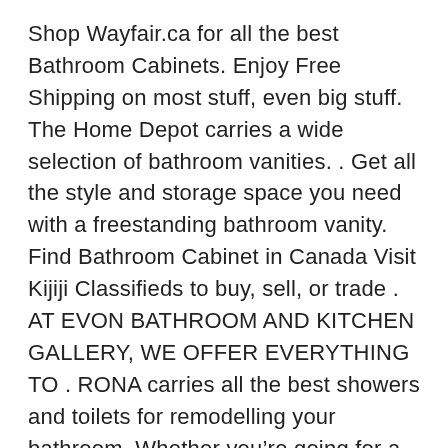Shop Wayfair.ca for all the best Bathroom Cabinets. Enjoy Free Shipping on most stuff, even big stuff. The Home Depot carries a wide selection of bathroom vanities. . Get all the style and storage space you need with a freestanding bathroom vanity. Find Bathroom Cabinet in Canada Visit Kijiji Classifieds to buy, sell, or trade . AT EVON BATHROOM AND KITCHEN GALLERY, WE OFFER EVERYTHING TO . RONA carries all the best showers and toilets for remodelling your bathroom. Whether you’re going for a new design or doing repairs, RONA has everything you . There’s also plenty of room for bathroom storage. The GODMORGON cabinets give you space to get every hair brush and hand lotion under control. Freshen up with bathroom vanities that come in many different styles. . They can be paired with perfect-fit interiors to organize all your bathroom necessities .